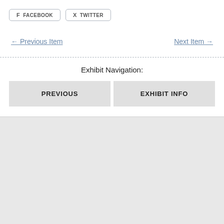[Figure (other): Facebook social share button with 'f' icon and text FACEBOOK]
[Figure (other): Twitter social share button with bird icon and text TWITTER]
← Previous Item
Next Item →
Exhibit Navigation:
PREVIOUS
EXHIBIT INFO